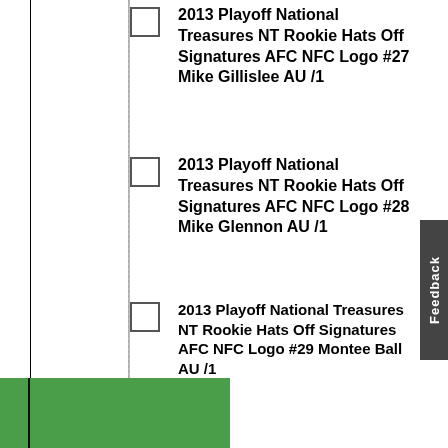2013 Playoff National Treasures NT Rookie Hats Off Signatures AFC NFC Logo #27 Mike Gillislee AU /1
2013 Playoff National Treasures NT Rookie Hats Off Signatures AFC NFC Logo #28 Mike Glennon AU /1
2013 Playoff National Treasures NT Rookie Hats Off Signatures AFC NFC Logo #29 Montee Ball AU /1
2013 Playoff National Treasures NT Rookie Hats Off Signatures AFC NFC Logo #30 Quinton Patton AU /1
2013 Playoff National Treasures NT Rookie Hats Off Signatures AFC NFC Logo #31 Robert Woods AU /1
2013 Playoff National Treasures NT Rookie Hats Off Signatures AFC NFC Logo #32 Ryan Nassib AU /1